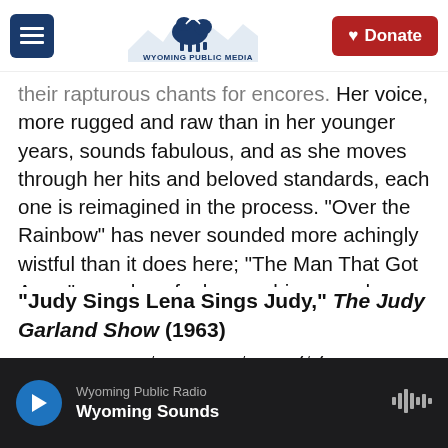Wyoming Public Media — Donate
their rapturous chants for encores. Her voice, more rugged and raw than in her younger years, sounds fabulous, and as she moves through her hits and beloved standards, each one is reimagined in the process. "Over the Rainbow" has never sounded more achingly wistful than it does here; "The Man That Got Away" somehow feels even bigger and more unstoppable than it did in A Star Is Born. You will listen once, and then, surely, you'll want to listen again, and again.
"Judy Sings Lena Sings Judy," The Judy Garland Show (1963)
Wyoming Public Radio — Wyoming Sounds